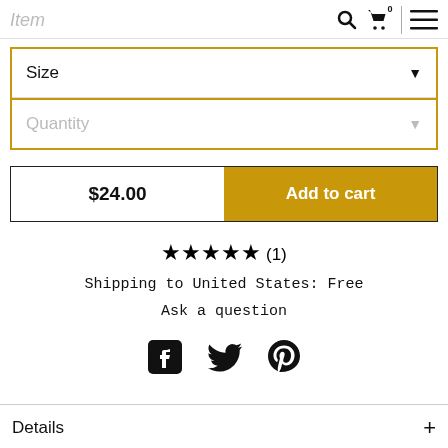Item
Size (dropdown)
Quantity (dropdown, disabled)
$24.00  Add to cart
★★★★★ (1)
Shipping to United States: Free
Ask a question
[Figure (infographic): Social media share icons: Facebook, Twitter, Pinterest]
Details